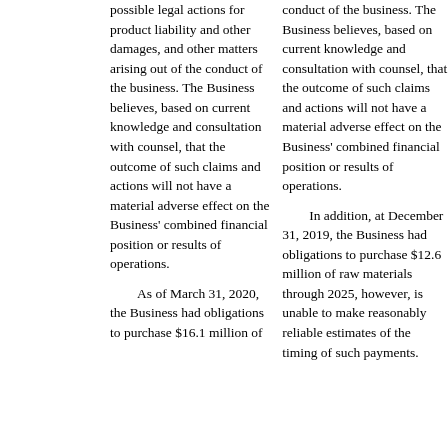possible legal actions for product liability and other damages, and other matters arising out of the conduct of the business. The Business believes, based on current knowledge and consultation with counsel, that the outcome of such claims and actions will not have a material adverse effect on the Business' combined financial position or results of operations.
As of March 31, 2020, the Business had obligations to purchase $16.1 million of
conduct of the business. The Business believes, based on current knowledge and consultation with counsel, that the outcome of such claims and actions will not have a material adverse effect on the Business' combined financial position or results of operations.
In addition, at December 31, 2019, the Business had obligations to purchase $12.6 million of raw materials through 2025, however, is unable to make reasonably reliable estimates of the timing of such payments.